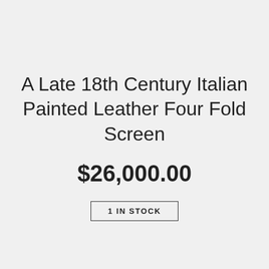A Late 18th Century Italian Painted Leather Four Fold Screen
$26,000.00
1 IN STOCK